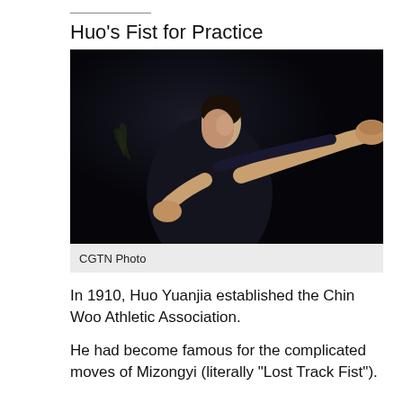Huo's Fist for Practice
[Figure (photo): A person in a dark outfit practicing a martial arts move in low-key dramatic lighting, extending one fist forward while the other arm is pulled back. Dark background.]
CGTN Photo
In 1910, Huo Yuanjia established the Chin Woo Athletic Association.
He had become famous for the complicated moves of Mizongyi (literally "Lost Track Fist").